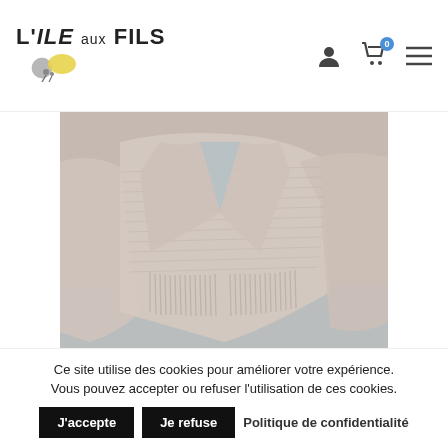L'ILE aux FILS — navigation header with logo, user icon, cart (0), menu
[Figure (photo): Close-up photo of a beige/cream knitted cardigan (Gilet Hibbis) laid flat on a light blue-grey background, showing the knit texture and ribbed hem detail]
Modèle de tricot – Gilet Hibbis
Ce site utilise des cookies pour améliorer votre expérience. Vous pouvez accepter ou refuser l'utilisation de ces cookies.
J'accepte   Je refuse   Politique de confidentialité